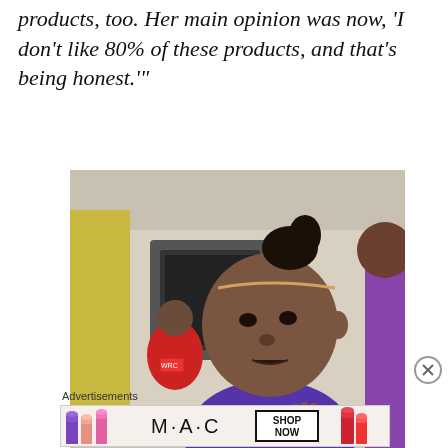products, too. Her main opinion was now, 'I don't like 80% of these products, and that's being honest.'
[Figure (photo): A young girl with hair pulled up in a bun wearing a blue shirt, with hands raised in a questioning gesture. People in background including someone in red shirt. Indoor setting with equipment visible.]
Advertisements
[Figure (illustration): MAC cosmetics advertisement showing lipsticks in purple, peach, and pink colors on left, MAC logo in center, SHOP NOW button in a box, and red lipstick on right side.]